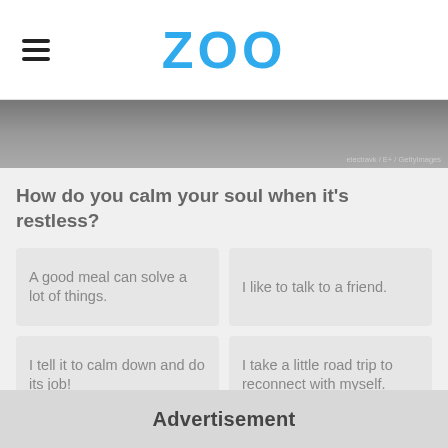ZOO
[Figure (photo): Grayscale cropped photo used as hero banner image with photo credit watermark: electravk / E+ / GettyImages]
How do you calm your soul when it's restless?
A good meal can solve a lot of things.
I like to talk to a friend.
I tell it to calm down and do its job!
I take a little road trip to reconnect with myself.
Advertisement